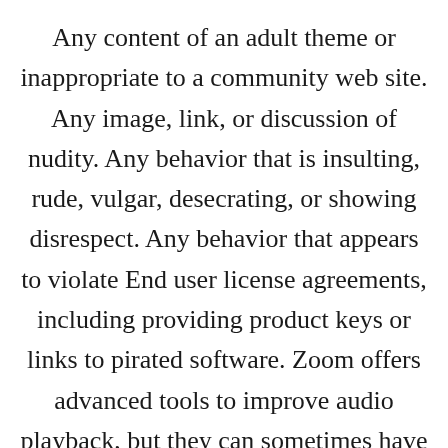Any content of an adult theme or inappropriate to a community web site. Any image, link, or discussion of nudity. Any behavior that is insulting, rude, vulgar, desecrating, or showing disrespect. Any behavior that appears to violate End user license agreements, including providing product keys or links to pirated software. Zoom offers advanced tools to improve audio playback, but they can sometimes have the opposite effect. If you have ongoing audio